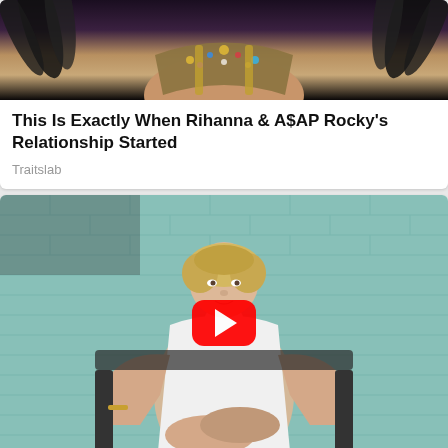[Figure (photo): Top portion of a person wearing an ornate bejeweled costume with feathers, cropped at torso level]
This Is Exactly When Rihanna & A$AP Rocky's Relationship Started
Traitslab
[Figure (photo): A blonde woman in a white sleeveless turtleneck dress seated in a chair with legs crossed, in front of a teal brick wall, with a YouTube play button overlay]
It's Easy To See Why This Is The Most Paused